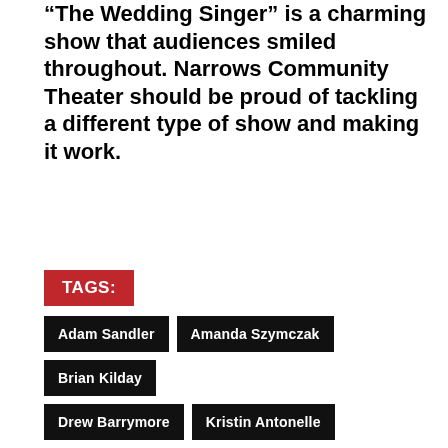“The Wedding Singer” is a charming show that audiences smiled throughout. Narrows Community Theater should be proud of tackling a different type of show and making it work.
TAGS:
Adam Sandler
Amanda Szymczak
Brian Kilday
Drew Barrymore
Kristin Antonelle
Maximilian Baudisch
Michael Chase Gosselin
Narrows Community Theater
The Wedding Singer